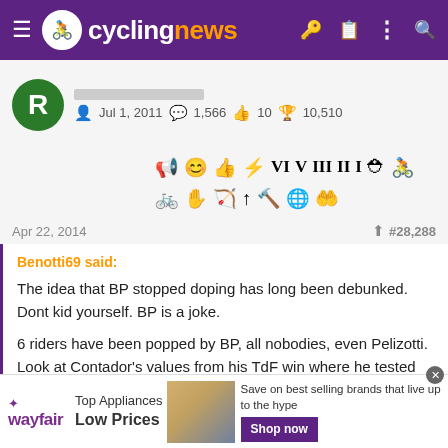cyclingnews
[Figure (screenshot): User profile bar showing avatar with letter R, join date Jul 1, 2011, message count 1,566, likes 10, trophy points 10,510]
[Figure (infographic): Toolbar with various action icons including quote, emoji, reaction, lightning, rank numerals VI V III II I, and various other icons]
Apr 22, 2014	#28,288
Benotti69 said:

The idea that BP stopped doping has long been debunked. Dont kid yourself. BP is a joke.

6 riders have been popped by BP, all nobodies, even Pelizotti. Look at Contador's values from his TdF win where he tested positive for
[Figure (infographic): Wayfair advertisement banner: Top Appliances Low Prices, Save on best selling brands that live up to the hype, Shop now button]